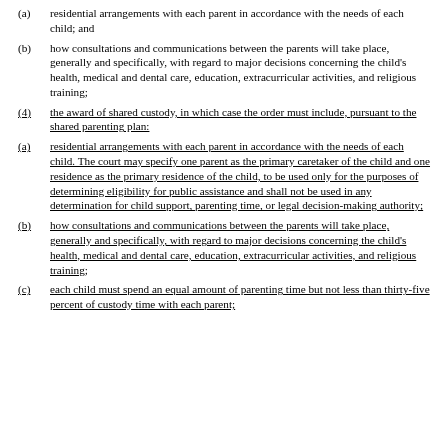(a)    residential arrangements with each parent in accordance with the needs of each child; and
(b)    how consultations and communications between the parents will take place, generally and specifically, with regard to major decisions concerning the child's health, medical and dental care, education, extracurricular activities, and religious training;
(4)    the award of shared custody, in which case the order must include, pursuant to the shared parenting plan:
(a)    residential arrangements with each parent in accordance with the needs of each child. The court may specify one parent as the primary caretaker of the child and one residence as the primary residence of the child, to be used only for the purposes of determining eligibility for public assistance and shall not be used in any determination for child support, parenting time, or legal decision-making authority;
(b)    how consultations and communications between the parents will take place, generally and specifically, with regard to major decisions concerning the child's health, medical and dental care, education, extracurricular activities, and religious training;
(c)    each child must spend an equal amount of parenting time but not less than thirty-five percent of custody time with each parent;